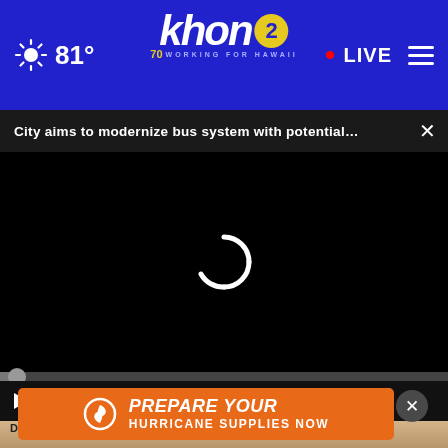81° khon2 WORKING FOR HAWAII LIVE
City aims to modernize bus system with potential...
[Figure (screenshot): Black video player with white loading spinner in center. Progress bar and controls (play, mute, timecode 00:00, captions, fullscreen) at bottom.]
[Figure (photo): Close-up photo of human feet on wooden floor, partially visible at bottom of page.]
Do Y... a Loo...
Smart Lifestyle Trends
[Figure (infographic): Orange banner advertisement: PREPARE YOUR HURRICANE SUPPLIES NOW with hurricane icon]